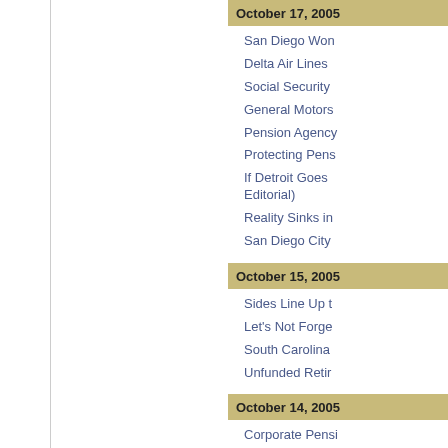October 17, 2005
San Diego Won
Delta Air Lines
Social Security
General Motors
Pension Agency
Protecting Pens
If Detroit Goes Editorial)
Reality Sinks in
San Diego City
October 15, 2005
Sides Line Up t
Let's Not Forge
South Carolina
Unfunded Retir
October 14, 2005
Corporate Pensi
Watching the Pe